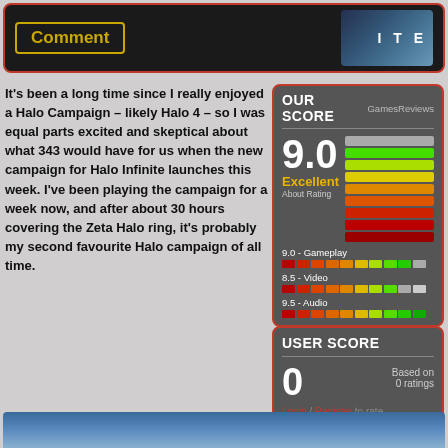Comment
It's been a long time since I really enjoyed a Halo Campaign – likely Halo 4 – so I was equal parts excited and skeptical about what 343 would have for us when the new campaign for Halo Infinite launches this week. I've been playing the campaign for a week now, and after about 30 hours covering the Zeta Halo ring, it's probably my second favourite Halo campaign of all time.
[Figure (infographic): Our Score panel: score 9.0 rated Excellent by GamesRevews with color-coded rating bars. Sub-scores: 9.0 Gameplay, 8.5 Video, 9.5 Audio]
[Figure (infographic): User Score panel: score 0 based on 0 ratings. Login/Register to rate.]